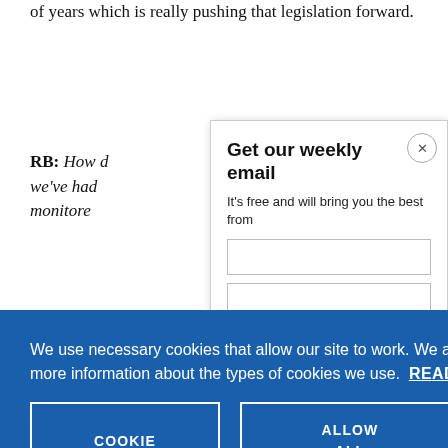of years which is really pushing that legislation forward.
RB: How d… we've had … monitore…
Get our weekly email
It's free and will bring you the best from
We use necessary cookies that allow our site to work. We also set optional cookies that help us improve our website. For more information about the types of cookies we use. READ OUR COOKIES POLICY HERE
COOKIE SETTINGS
ALLOW ALL COOKIES
data.
Figur…